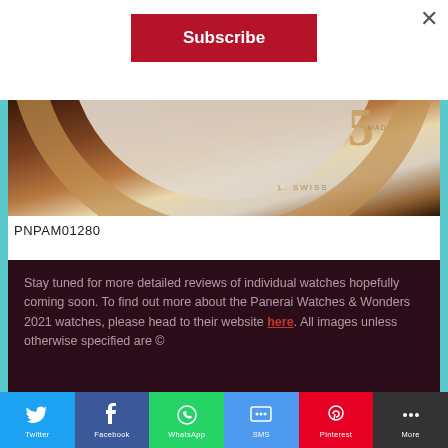×
Subscribe
[Figure (photo): Close-up photo of a luxury watch dial showing rose gold case, mother-of-pearl dial, and numerals including a 5, with SWISS text visible]
PNPAM01280
Stay tuned for more detailed reviews of individual watches hopefully coming soon. To find out more about the Panerai Watches & Wonders 2021 watches, please head to their website here. All images unless otherwise specified are ©
[Figure (infographic): Social media sharing bar with Twitter, Facebook, WhatsApp, SMS, Pinterest, and More icons]